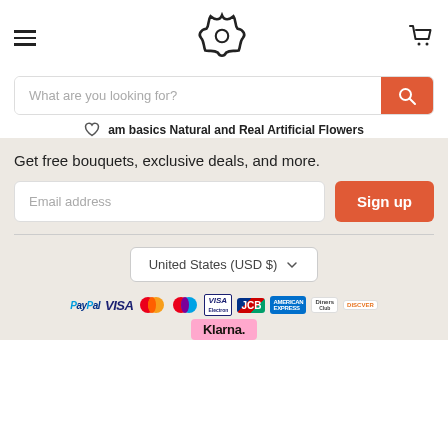[Figure (logo): Decorative flower/snowflake logo icon in black outline]
What are you looking for?
am basics Natural and Real Artificial Flowers
Get free bouquets, exclusive deals, and more.
Email address
Sign up
United States (USD $)
[Figure (logo): Payment method logos: PayPal, Visa, Mastercard, Maestro, Visa Electron, JCB, American Express, Diners Club, Discover, Klarna]